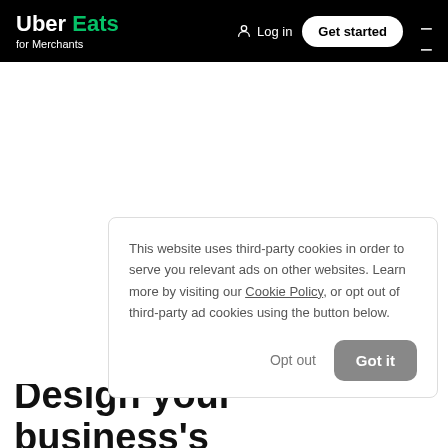Uber Eats for Merchants — Log in — Get started
This website uses third-party cookies in order to serve you relevant ads on other websites. Learn more by visiting our Cookie Policy, or opt out of third-party ad cookies using the button below.
Opt out
Got it
Design your business's